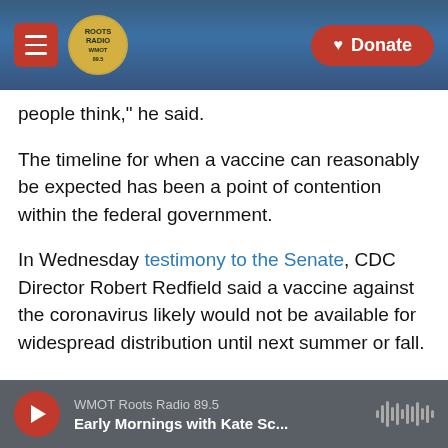WMOT Roots Radio — Navigation bar with Roots Radio logo and Donate button
people think," he said.
The timeline for when a vaccine can reasonably be expected has been a point of contention within the federal government.
In Wednesday testimony to the Senate, CDC Director Robert Redfield said a vaccine against the coronavirus likely would not be available for widespread distribution until next summer or fall.
Trump later that day re-upped his pledge that a vaccine could be ready as soon as October and said
WMOT Roots Radio 89.5 — Early Mornings with Kate Sc...